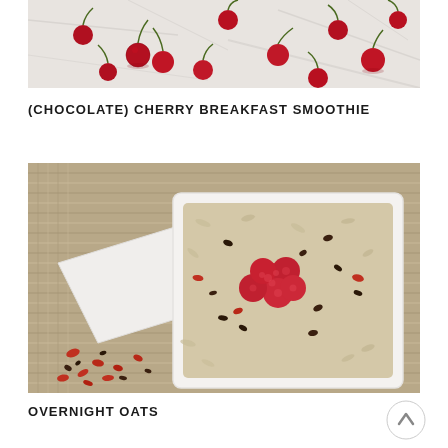[Figure (photo): Overhead photo of fresh red cherries scattered on a white marble surface]
(CHOCOLATE) CHERRY BREAKFAST SMOOTHIE
[Figure (photo): Overhead photo of a white square bowl filled with overnight oats topped with fresh raspberries and cacao nibs, with goji berries and cacao nibs scattered on a woven placemat beside it]
OVERNIGHT OATS